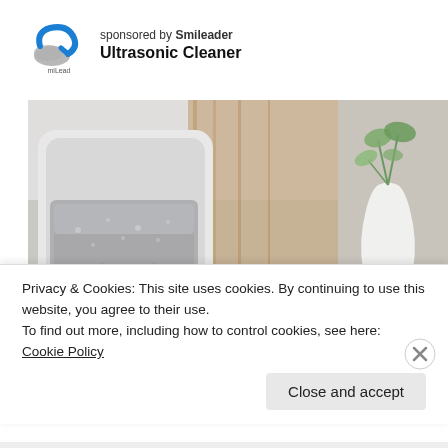[Figure (logo): Smileader company logo — blue curved arrow shape with grey element, 'miLeap' text below]
sponsored by Smileader
Ultrasonic Cleaner
[Figure (photo): Photo of an ultrasonic cleaner device with eyeglasses inside the metal basin, wooden background visible, and a second partial photo of a white vase with a plant on a shelf]
Privacy & Cookies: This site uses cookies. By continuing to use this website, you agree to their use.
To find out more, including how to control cookies, see here: Cookie Policy
Close and accept